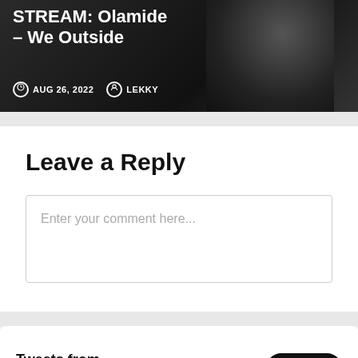[Figure (screenshot): Blog post thumbnail showing a man in black against dark background with title 'STREAM: Olamide – We Outside', date AUG 26, 2022, author LEKKY]
Leave a Reply
Enter your comment here...
Tweets from @ngwideofficial